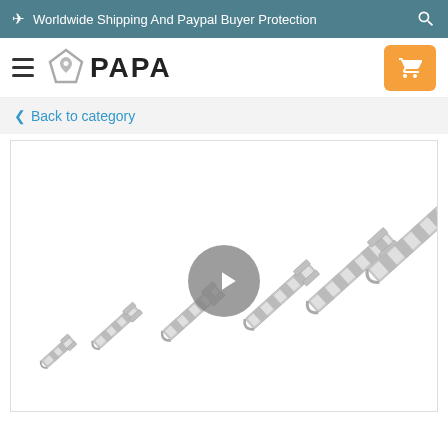✈ Worldwide Shipping And Paypal Buyer Protection
[Figure (logo): PAPA brand logo with diamond-shaped icon and hamburger menu, plus orange cart button]
Back to category
[Figure (photo): Product photo showing various sizes of silver metal safety pin backs / brooch pin backs arranged diagonally, with a video play button overlay in the center]